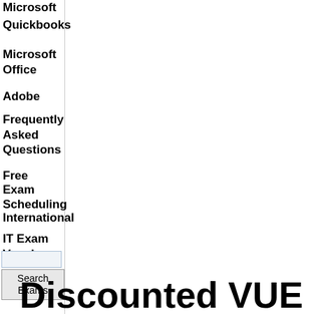Microsoft
Quickbooks
Microsoft Office
Adobe
Frequently Asked Questions
Free Exam Scheduling
International
IT Exam Vouchers
Search Exams
Discounted VUE